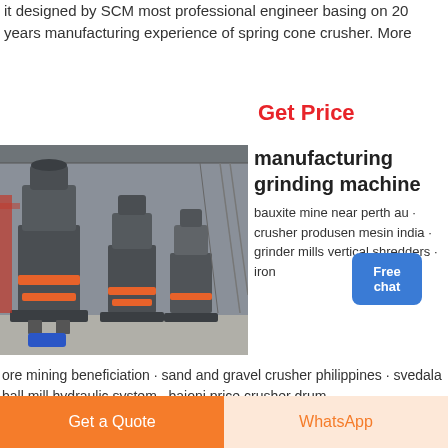it designed by SCM most professional engineer basing on 20 years manufacturing experience of spring cone crusher. More
Get Price
[Figure (photo): Industrial grinding machines (cone crushers/vertical mills) in a factory/warehouse setting with steel frame structures and orange-accented machinery.]
manufacturing grinding machine
bauxite mine near perth au · crusher produsen mesin india · grinder mills vertical shredders · iron ore mining beneficiation · sand and gravel crusher philippines · svedala ball mill hydraulic system · baioni price crusher drum
Free chat
Get a Quote
WhatsApp